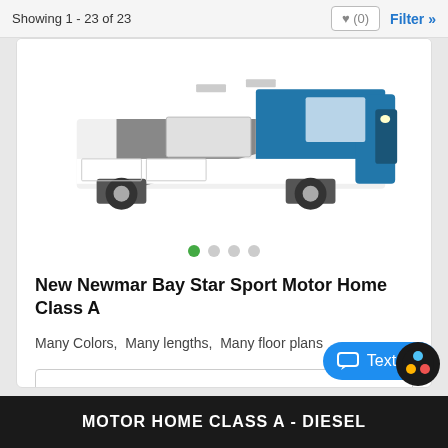Showing 1 - 23 of 23
[Figure (photo): Partial front/side view of a blue, white, and gray Newmar Bay Star Sport Class A motor home RV against a white background. Image carousel dots below showing 4 images (first active/green).]
New Newmar Bay Star Sport Motor Home Class A
Many Colors,  Many lengths,  Many floor plans
VIEW DETAILS »
MOTOR HOME CLASS A - DIESEL